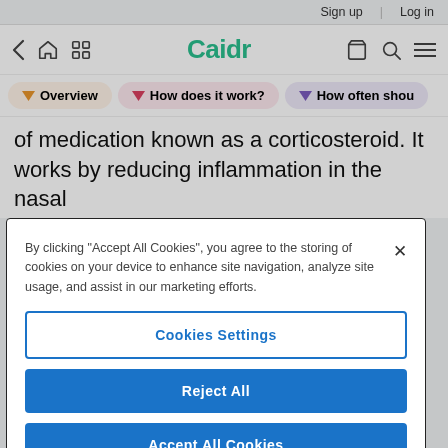Sign up | Log in
[Figure (screenshot): Caidr app navigation bar with back arrow, home, grid, Caidr logo, bag, search, and menu icons]
[Figure (screenshot): Tab strip with three tabs: Overview (orange), How does it work? (pink), How often shou... (purple)]
of medication known as a corticosteroid. It works by reducing inflammation in the nasal
By clicking “Accept All Cookies”, you agree to the storing of cookies on your device to enhance site navigation, analyze site usage, and assist in our marketing efforts.
Cookies Settings
Reject All
Accept All Cookies